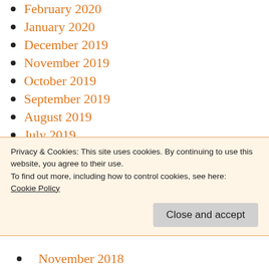February 2020
January 2020
December 2019
November 2019
October 2019
September 2019
August 2019
July 2019
June 2019
May 2019
April 2019
Privacy & Cookies: This site uses cookies. By continuing to use this website, you agree to their use.
To find out more, including how to control cookies, see here:
Cookie Policy
November 2018